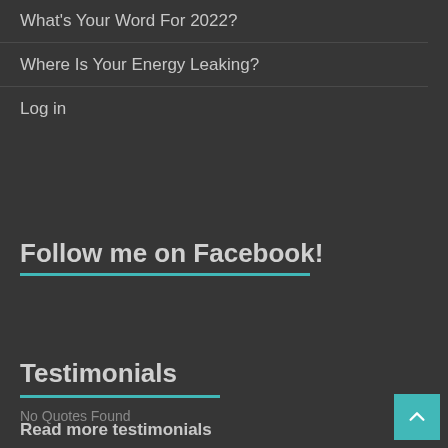What's Your Word For 2022?
Where Is Your Energy Leaking?
Log in
Follow me on Facebook!
Testimonials
No Quotes Found
Read more testimonials